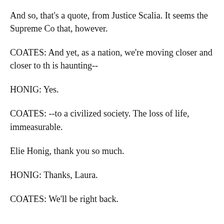And so, that's a quote, from Justice Scalia. It seems the Supreme Co that, however.
COATES: And yet, as a nation, we're moving closer and closer to th is haunting--
HONIG: Yes.
COATES: --to a civilized society. The loss of life, immeasurable.
Elie Honig, thank you so much.
HONIG: Thanks, Laura.
COATES: We'll be right back.